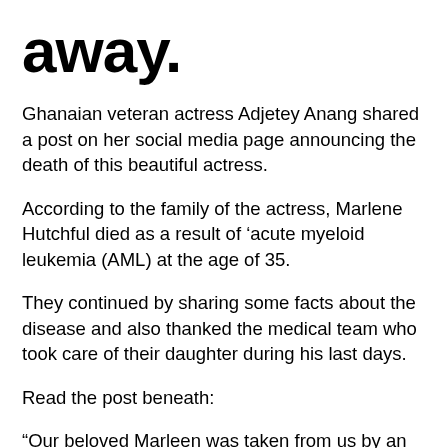away.
Ghanaian veteran actress Adjetey Anang shared a post on her social media page announcing the death of this beautiful actress.
According to the family of the actress, Marlene Hutchful died as a result of ‘acute myeloid leukemia (AML) at the age of 35.
They continued by sharing some facts about the disease and also thanked the medical team who took care of their daughter during his last days.
Read the post beneath:
“Our beloved Marleen was taken from us by an aggressive form of Leukaemia known as Acute Myeloid Leukaemia, which is essentially blood cancer.